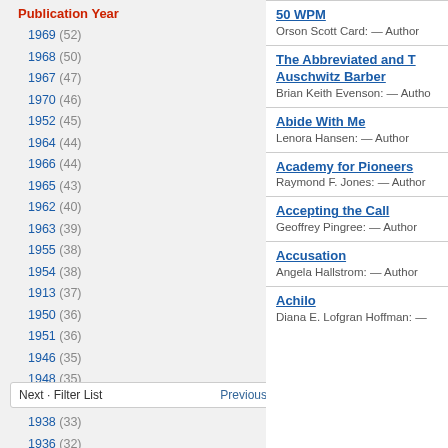Publication Year
1969 (52)
1968 (50)
1967 (47)
1970 (46)
1952 (45)
1964 (44)
1966 (44)
1965 (43)
1962 (40)
1963 (39)
1955 (38)
1954 (38)
1913 (37)
1950 (36)
1951 (36)
1946 (35)
1948 (35)
1949 (34)
1938 (33)
1936 (32)
Next · Filter List   Previous
50 WPM
Orson Scott Card: — Author
The Abbreviated and Auschwitz Barber
Brian Keith Evenson: — Author
Abide With Me
Lenora Hansen: — Author
Academy for Pioneers
Raymond F. Jones: — Author
Accepting the Call
Geoffrey Pingree: — Author
Accusation
Angela Hallstrom: — Author
Achilo
Diana E. Lofgran Hoffman: —